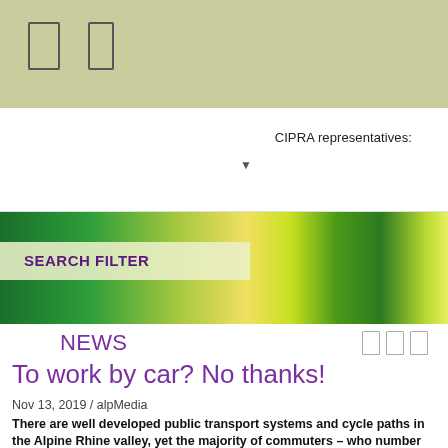[Figure (other): Top olive/tan navigation bar with two rectangular placeholder icons]
CIPRA representatives:
[Figure (other): Nature/dandelion banner photo with green and yellow tones, overlaid with a Search Filter label box]
NEWS
To work by car? No thanks!
Nov 13, 2019 / alpMedia
There are well developed public transport systems and cycle paths in the Alpine Rhine valley, yet the majority of commuters – who number up to 50,000 a day – travel to work by car. A CIPRA project is looking for solutions in this international quadrangle.